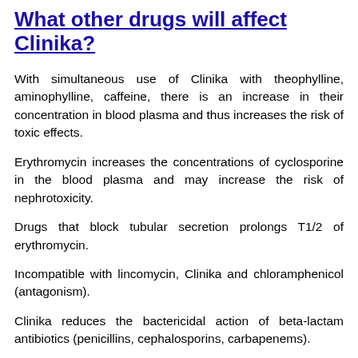What other drugs will affect Clinika?
With simultaneous use of Clinika with theophylline, aminophylline, caffeine, there is an increase in their concentration in blood plasma and thus increases the risk of toxic effects.
Erythromycin increases the concentrations of cyclosporine in the blood plasma and may increase the risk of nephrotoxicity.
Drugs that block tubular secretion prolongs T1/2 of erythromycin.
Incompatible with lincomycin, Clinika and chloramphenicol (antagonism).
Clinika reduces the bactericidal action of beta-lactam antibiotics (penicillins, cephalosporins, carbapenems).
With simultaneous use of erythromycin increases the